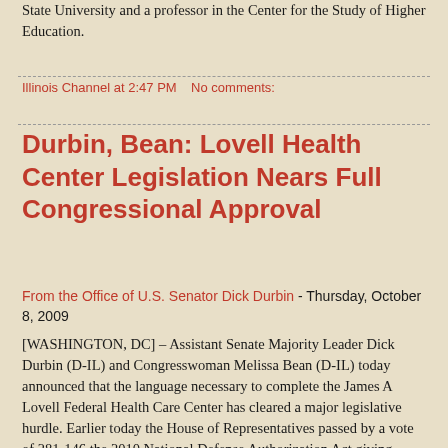State University and a professor in the Center for the Study of Higher Education.
Illinois Channel at 2:47 PM   No comments:
Durbin, Bean: Lovell Health Center Legislation Nears Full Congressional Approval
From the Office of U.S. Senator Dick Durbin - Thursday, October 8, 2009
[WASHINGTON, DC] – Assistant Senate Majority Leader Dick Durbin (D-IL) and Congresswoman Melissa Bean (D-IL) today announced that the language necessary to complete the James A Lovell Federal Health Care Center has cleared a major legislative hurdle. Earlier today the House of Representatives passed by a vote of 281-146 the 2010 National Defense Authorization Act giving authority to the Navy and the Department of Veterans Affairs (VA) to jointly operate the new Federal Health Care Center. The legislation